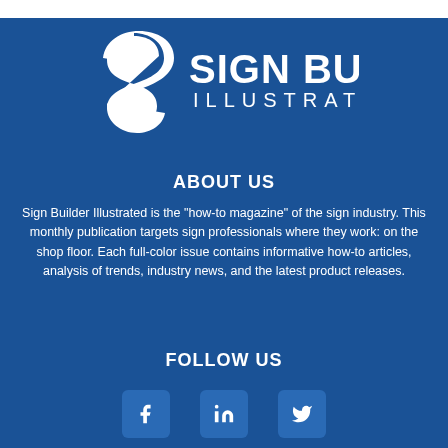[Figure (logo): Sign Builder Illustrated logo with white S-shaped icon and text 'SIGN BUILDER ILLUSTRATED' on blue background]
ABOUT US
Sign Builder Illustrated is the "how-to magazine" of the sign industry. This monthly publication targets sign professionals where they work: on the shop floor. Each full-color issue contains informative how-to articles, analysis of trends, industry news, and the latest product releases.
FOLLOW US
[Figure (infographic): Social media icons: Facebook (f), LinkedIn (in), Twitter (bird) on rounded rectangle buttons]